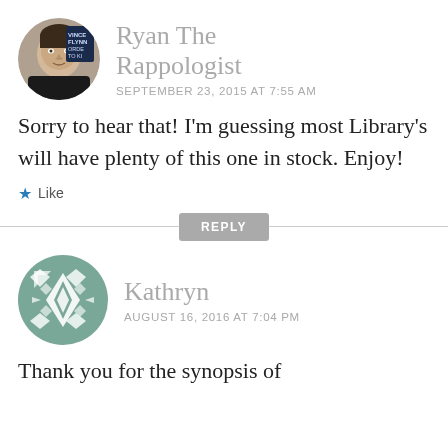[Figure (photo): Circular avatar photo of Ryan, a man, with a book cover in the background showing text VINCE FLYNN, ORDER TO KI]
Ryan The Rappologist
SEPTEMBER 23, 2015 AT 7:55 AM
Sorry to hear that! I'm guessing most Library's will have plenty of this one in stock. Enjoy!
Like
REPLY
[Figure (illustration): Circular avatar with teal/sage geometric diamond pattern for Kathryn]
Kathryn
AUGUST 16, 2016 AT 7:04 PM
Thank you for the synopsis of